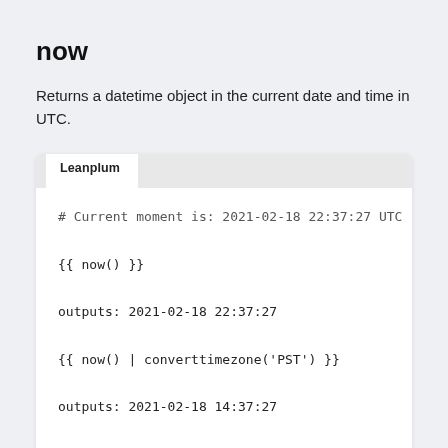now
Returns a datetime object in the current date and time in UTC.
Leanplum
# Current moment is: 2021-02-18 22:37:27 UTC

{{ now() }}

outputs: 2021-02-18 22:37:27

{{ now() | converttimezone('PST') }}

outputs: 2021-02-18 14:37:27

{{ now() | datetimeformat("%Y-%m-%d") }}

outputs: 2021-02-18